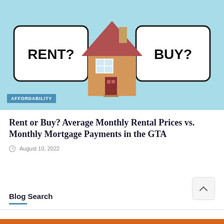[Figure (illustration): Blog post hero image on light blue background showing a 3D wooden house model in the center with speech bubbles on each side. Left bubble says 'RENT?' and right bubble says 'BUY?'. An 'AFFORDABILITY' label badge is in the bottom-left corner of the image.]
Rent or Buy? Average Monthly Rental Prices vs. Monthly Mortgage Payments in the GTA
August 10, 2022
Blog Search